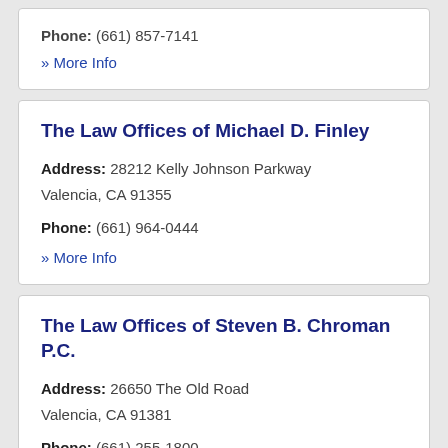Phone: (661) 857-7141
» More Info
The Law Offices of Michael D. Finley
Address: 28212 Kelly Johnson Parkway Valencia, CA 91355
Phone: (661) 964-0444
» More Info
The Law Offices of Steven B. Chroman P.C.
Address: 26650 The Old Road Valencia, CA 91381
Phone: (661) 255-1800
» More Info